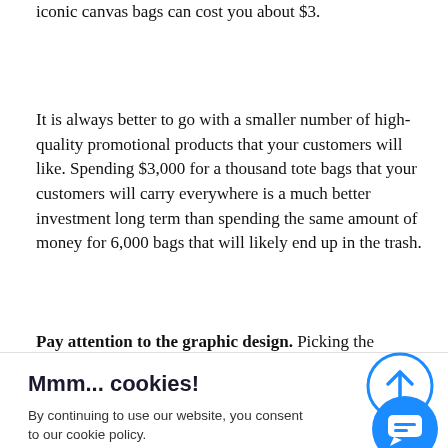iconic canvas bags can cost you about $3.
It is always better to go with a smaller number of high-quality promotional products that your customers will like. Spending $3,000 for a thousand tote bags that your customers will carry everywhere is a much better investment long term than spending the same amount of money for 6,000 bags that will likely end up in the trash.
Pay attention to the graphic design. Picking the merchandise with better quality is the first step. It can help ... npanies that ... will mak... nd m... rchandise... r every dollar s...
[Figure (screenshot): Cookie consent overlay with title 'Mmm... cookies!', text 'By continuing to use our website, you consent to our cookie policy.', an ACCEPT button, and a PRIVACY POLICY link. Also shows a scroll-up circular arrow button and a chat bubble button.]
The simple placement of your logo on merchandise is not